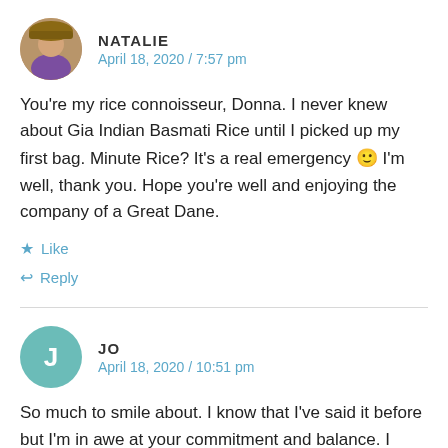NATALIE
April 18, 2020 / 7:57 pm
You're my rice connoisseur, Donna. I never knew about Gia Indian Basmati Rice until I picked up my first bag. Minute Rice? It's a real emergency 🙂 I'm well, thank you. Hope you're well and enjoying the company of a Great Dane.
Like
Reply
JO
April 18, 2020 / 10:51 pm
So much to smile about. I know that I've said it before but I'm in awe at your commitment and balance. I know that I should be mixing my walks up with some strength work and she yoga but